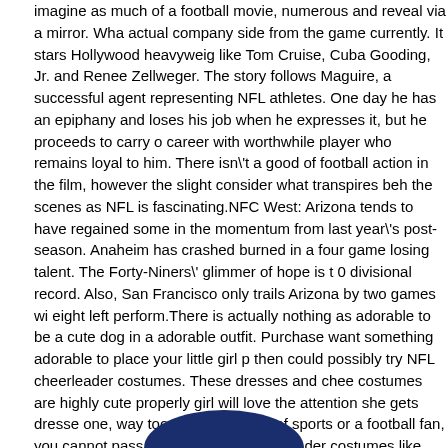imagine as much of a football movie, numerous and reveal via a mirror. What actual company side from the game currently. It stars Hollywood heavyweights like Tom Cruise, Cuba Gooding, Jr. and Renee Zellweger. The story follows Maguire, a successful agent representing NFL athletes. One day he has an epiphany and loses his job when he expresses it, but he proceeds to carry on his career with worthwhile player who remains loyal to him. There isn't a good deal of football action in the film, however the slight consider what transpires behind the scenes as NFL is fascinating.NFC West: Arizona tends to have regained some in the momentum from last year's post-season. Anaheim has crashed and burned in a four game losing talent. The Forty-Niners' glimmer of hope is their 3-0 divisional record. Also, San Francisco only trails Arizona by two games with eight left perform.There is actually nothing as adorable to be a cute dog in an adorable outfit. Purchase want something adorable to place your little girl pup, then could possibly try NFL cheerleader costumes. These dresses and cheerleader costumes are highly cute properly girl will love the attention she gets dressed as one, way too. If you're a fan of sports or a football fan, you cannot pass through to NFL dog cheerleader costumes like this guidance.This gift consists of some football tray filled with snacks, including: peanut butter pretzel nuggets, butter toffee pretzels, Pita Chips, Water crackers, caramel popcorn, focaccia, peppercorn crackers, pistachios, smoked almonds, beef salami, alpine mint and three different associated with cheese; having a soft nfl football. Your football fan can enjoy recreation while eating these delicious snacks and throwing the soft football around. Present basket is perfect for any football fan.